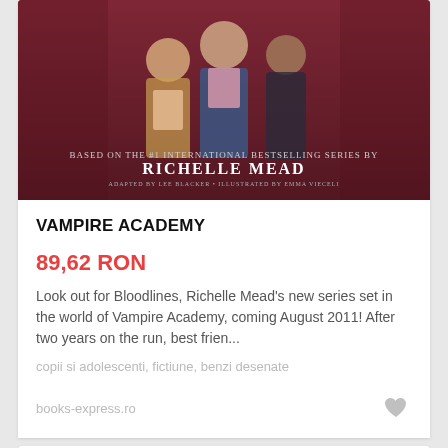[Figure (photo): Book cover image for Vampire Academy by Richelle Mead, showing illustrated characters and dark red/maroon background with author name text]
VAMPIRE ACADEMY
89,62 RON
Look out for Bloodlines, Richelle Mead’s new series set in the world of Vampire Academy, coming August 2011! After two years on the run, best frien...
copii si adolescenti, fictiune, benzi desenate
books-express.ro
Similar cu Vampire Academy »
[Figure (photo): Partial book cover showing green foliage, cropped at bottom of page]